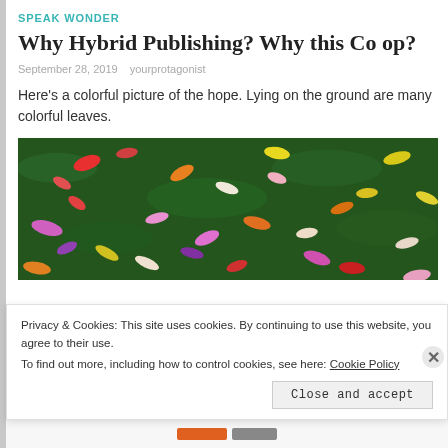SPEAK WONDER
Why Hybrid Publishing? Why this Co op?
September 28, 2019   yourprotagonist
Here's a colorful picture of the hope. Lying on the ground are many colorful leaves.
[Figure (photo): Colorful autumn leaves scattered on green grass/moss ground, photographed from above. Leaves are pink, red, orange, yellow, purple, and white.]
Privacy & Cookies: This site uses cookies. By continuing to use this website, you agree to their use.
To find out more, including how to control cookies, see here: Cookie Policy

Close and accept